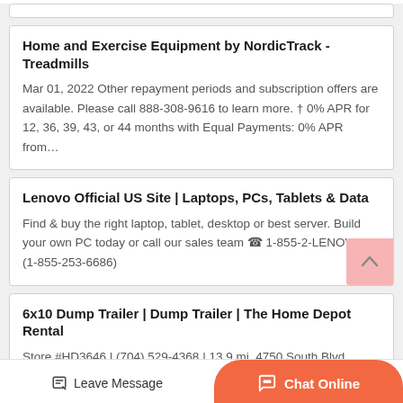Home and Exercise Equipment by NordicTrack - Treadmills
Mar 01, 2022 Other repayment periods and subscription offers are available. Please call 888-308-9616 to learn more. † 0% APR for 12, 36, 39, 43, or 44 months with Equal Payments: 0% APR from…
Lenovo Official US Site | Laptops, PCs, Tablets & Data
Find & buy the right laptop, tablet, desktop or best server. Build your own PC today or call our sales team ☎ 1-855-2-LENOVO (1-855-253-6686)
6x10 Dump Trailer | Dump Trailer | The Home Depot Rental
Store #HD3646 | (704) 529-4368 | 13.9 mi. 4750 South Blvd.
Leave Message
Chat Online